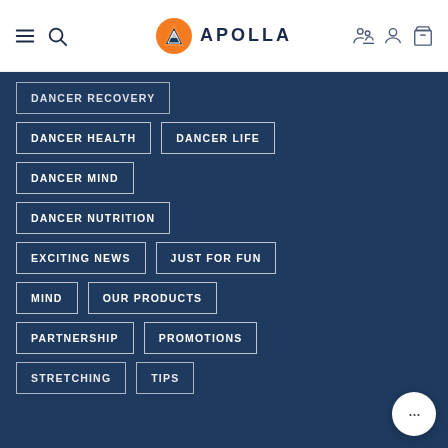APOLLA
DANCER HEALTH
DANCER LIFE
DANCER MIND
DANCER NUTRITION
EXCITING NEWS
JUST FOR FUN
MIND
OUR PRODUCTS
PARTNERSHIP
PROMOTIONS